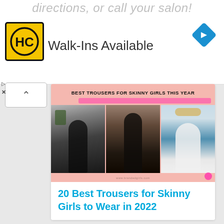directions, or call your salon!
[Figure (logo): HC logo — yellow square with black border, letters HC in black]
Walk-Ins Available
[Figure (illustration): Blue diamond navigation/directions icon]
[Figure (photo): Collage image titled BEST TROUSERS FOR SKINNY GIRLS THIS YEAR showing three women wearing dark trousers/pants outfits. Website watermark: www.brandedgirls.com]
20 Best Trousers for Skinny Girls to Wear in 2022